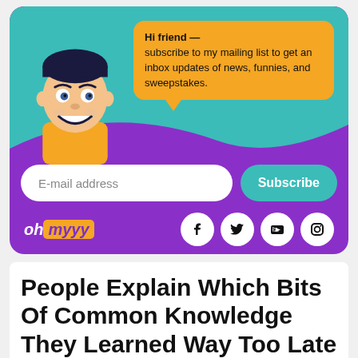[Figure (infographic): Newsletter subscription widget for 'oh myyy' with a cartoon character, speech bubble saying 'Hi friend — subscribe to my mailing list to get an inbox updates of news, funnies, and sweepstakes.', an email address input field, a teal Subscribe button, the oh myyy logo, and social media icons for Facebook, Twitter, YouTube, and Instagram.]
People Explain Which Bits Of Common Knowledge They Learned Way Too Late In Life